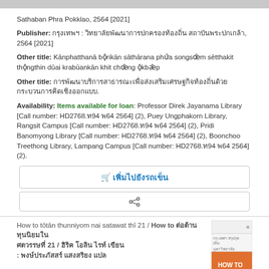Sathaban Phra Pokklao, 2564 [2021]
Publisher: กรุงเทพฯ : วิทยาลัยพัฒนาการปกครองท้องถิ่น สถาบันพระปกเกล้า, 2564 [2021]
Other title: Kānphatthanā bǭrikān sāthārana phư̄a songsœ̄m sētthakit thǭngthin dūai krabūankān khit chœ̄ng ǭkbǣp
Other title: การพัฒนาบริการสาธารณะเพื่อส่งเสริมเศรษฐกิจท้องถิ่นด้วยกระบวนการคิดเชิงออกแบบ.
Availability: Items available for loan: Professor Direk Jayanama Library [Call number: HD2768.ท94 พ64 2564] (2), Puey Ungphakorn Library, Rangsit Campus [Call number: HD2768.ท94 พ64 2564] (2), Pridi Banomyong Library [Call number: HD2768.ท94 พ64 2564] (2), Boonchoo Treethong Library, Lampang Campus [Call number: HD2768.ท94 พ64 2564] (2).
🛒 เพิ่มไปยังรถเข็น
share icon
How to tōtān thunniyom nai satawat thī 21 / How to ต่อต้านทุนนิยมในศตวรรษที่ 21 / ฮิริค โอลิน ไรท์ เขียน : พงษ์ประภัสสร์ แสงสริยง แปล